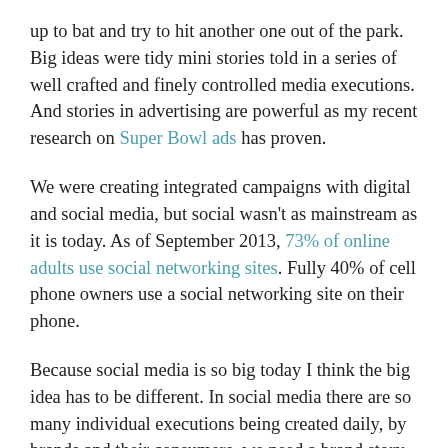up to bat and try to hit another one out of the park. Big ideas were tidy mini stories told in a series of well crafted and finely controlled media executions. And stories in advertising are powerful as my recent research on Super Bowl ads has proven.
We were creating integrated campaigns with digital and social media, but social wasn't as mainstream as it is today. As of September 2013, 73% of online adults use social networking sites. Fully 40% of cell phone owners use a social networking site on their phone.
Because social media is so big today I think the big idea has to be different. In social media there are so many individual executions being created daily, by brands and their consumers, we need a brand story that doesn't start or end, but evolves and is co-